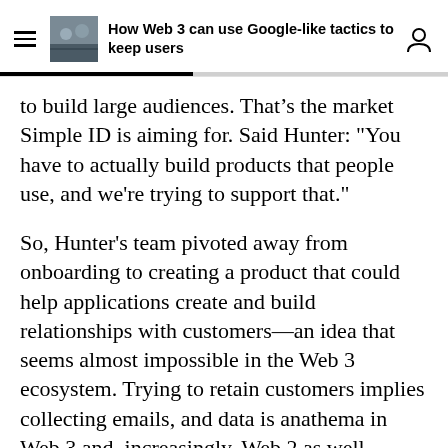How Web 3 can use Google-like tactics to keep users
to build large audiences. That's the market Simple ID is aiming for. Said Hunter: "You have to actually build products that people use, and we're trying to support that."
So, Hunter's team pivoted away from onboarding to creating a product that could help applications create and build relationships with customers—an idea that seems almost impossible in the Web 3 ecosystem. Trying to retain customers implies collecting emails, and data is anathema in Web 3 and, increasingly, Web 2 as well.
From Google's tactics to blockchain-like Google making